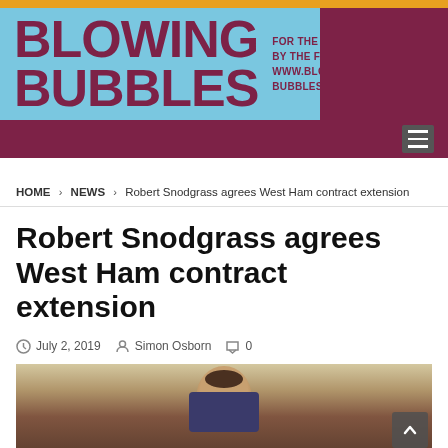BLOWING BUBBLES — FOR THE FANS, BY THE FANS — www.blowing-bubbles.co.uk
HOME › NEWS › Robert Snodgrass agrees West Ham contract extension
Robert Snodgrass agrees West Ham contract extension
July 2, 2019   Simon Osborn   0
[Figure (photo): Photo of Robert Snodgrass, a footballer, looking upward]